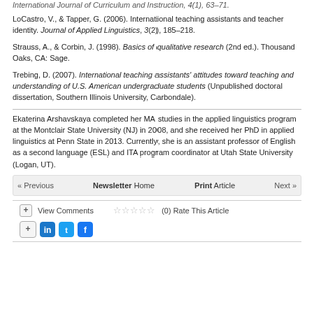International Journal of Curriculum and Instruction, 4(1), 63–71.
LoCastro, V., & Tapper, G. (2006). International teaching assistants and teacher identity. Journal of Applied Linguistics, 3(2), 185–218.
Strauss, A., & Corbin, J. (1998). Basics of qualitative research (2nd ed.). Thousand Oaks, CA: Sage.
Trebing, D. (2007). International teaching assistants' attitudes toward teaching and understanding of U.S. American undergraduate students (Unpublished doctoral dissertation, Southern Illinois University, Carbondale).
Ekaterina Arshavskaya completed her MA studies in the applied linguistics program at the Montclair State University (NJ) in 2008, and she received her PhD in applied linguistics at Penn State in 2013. Currently, she is an assistant professor of English as a second language (ESL) and ITA program coordinator at Utah State University (Logan, UT).
« Previous   Newsletter Home   Print Article   Next »
+ View Comments  (0) Rate This Article